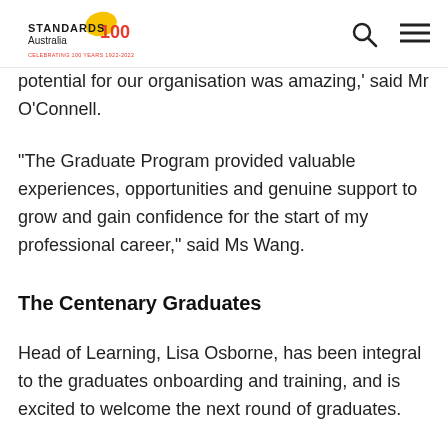Standards Australia 100 — Celebrating 100 Years 1922-2022
potential for our organisation was amazing,' said Mr O'Connell.
"The Graduate Program provided valuable experiences, opportunities and genuine support to grow and gain confidence for the start of my professional career," said Ms Wang.
The Centenary Graduates
Head of Learning, Lisa Osborne, has been integral to the graduates onboarding and training, and is excited to welcome the next round of graduates.